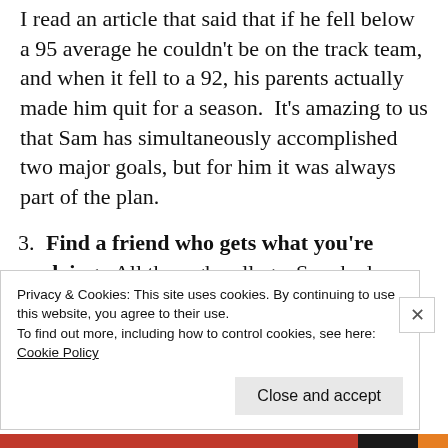I read an article that said that if he fell below a 95 average he couldn't be on the track team, and when it fell to a 92, his parents actually made him quit for a season.  It's amazing to us that Sam has simultaneously accomplished two major goals, but for him it was always part of the plan.
3. Find a friend who gets what you're doing.  All through college, Sam had a BFF who was also on the track team.  In addition to being roommates and
Privacy & Cookies: This site uses cookies. By continuing to use this website, you agree to their use.
To find out more, including how to control cookies, see here:
Cookie Policy